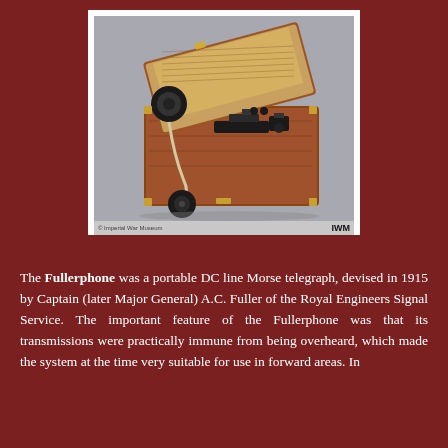[Figure (photo): A Fullerphone portable DC line Morse telegraph device shown in its open wooden carrying case with components visible including a telegraph key and earphone, photographed against a grey background. Image credited to IWM (Imperial War Museum).]
The Fullerphone was a portable DC line Morse telegraph, devised in 1915 by Captain (later Major General) A.C. Fuller of the Royal Engineers Signal Service. The important feature of the Fullerphone was that its transmissions were practically immune from being overheard, which made the system at the time very suitable for use in forward areas. In